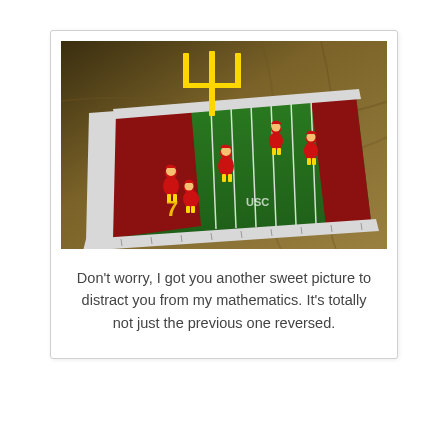[Figure (photo): Photo of a LEGO football field set with yellow goal posts and small LEGO football player figures in red and yellow uniforms arranged on a green field with white yard lines and a red end zone, placed on a golden/tan fabric background.]
Don't worry, I got you another sweet picture to distract you from my mathematics. It's totally not just the previous one reversed.